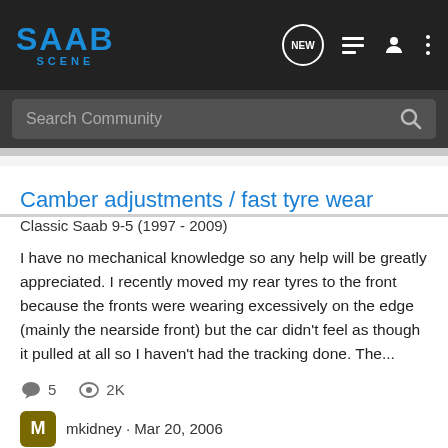SAAB SCENE
Search Community
Camber adjustments / fast tyre wear
Classic Saab 9-5 (1997 - 2009)
I have no mechanical knowledge so any help will be greatly appreciated. I recently moved my rear tyres to the front because the fronts were wearing excessively on the edge (mainly the nearside front) but the car didn't feel as though it pulled at all so I haven't had the tracking done. The...
5  2K
mkidney · Mar 20, 2006
adjustments  camber  fast  wear